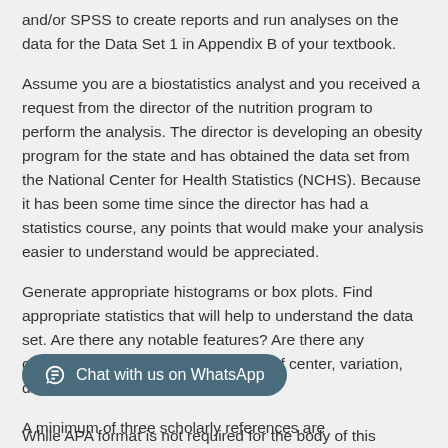and/or SPSS to create reports and run analyses on the data for the Data Set 1 in Appendix B of your textbook.
Assume you are a biostatistics analyst and you received a request from the director of the nutrition program to perform the analysis. The director is developing an obesity program for the state and has obtained the data set from the National Center for Health Statistics (NCHS). Because it has been some time since the director has had a statistics course, any points that would make your analysis easier to understand would be appreciated.
Generate appropriate histograms or box plots. Find appropriate statistics that will help to understand the data set. Are there any notable features? Are there any outliers? Describe the key elements of center, variation, distribution, and outliers.
A minimum of three scholarly references are
While APA format is not required for the body of this